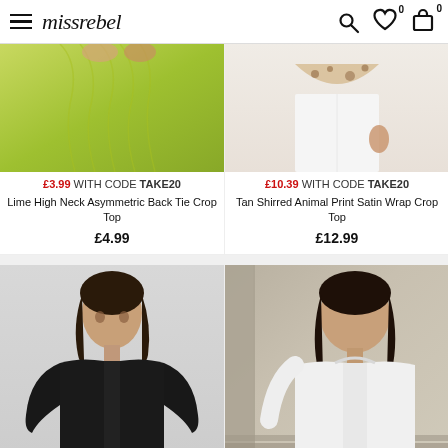missrebel
[Figure (photo): Lime green ruched crop top on model, torso view]
[Figure (photo): Tan animal print satin wrap crop top on model, lower body and hand visible, white trousers]
£3.99 WITH CODE TAKE20
£10.39 WITH CODE TAKE20
Lime High Neck Asymmetric Back Tie Crop Top
Tan Shirred Animal Print Satin Wrap Crop Top
£4.99
£12.99
[Figure (photo): Woman with dark hair wearing black long-sleeve top, grey background]
[Figure (photo): Woman with dark hair wearing white hoodie, outdoor stone architecture background]